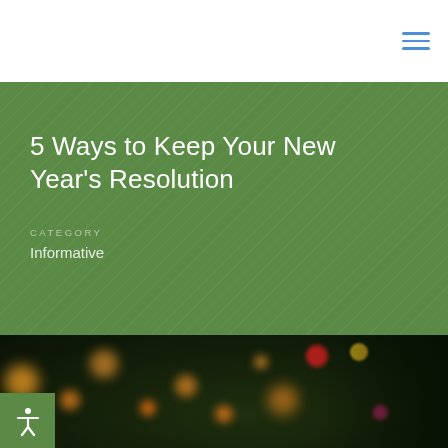5 Ways to Keep Your New Year's Resolution
CATEGORY
Informative
[Figure (photo): Christmas tree with bokeh lights in background, ornaments visible including red, gold/yellow decorations, dark background with warm orange and red bokeh circles]